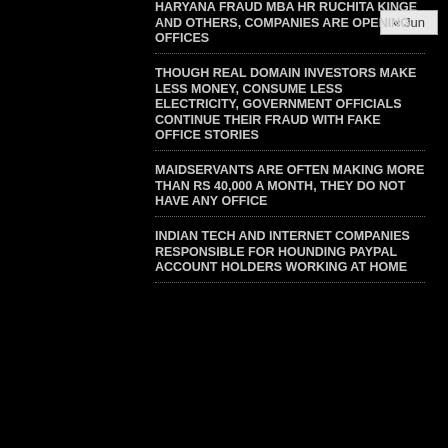HARYANA FRAUD MBA HR RUCHITA KINGE AND OTHERS, COMPANIES ARE OPENING OFFICES
THOUGH REAL DOMAIN INVESTORS MAKE LESS MONEY, CONSUME LESS ELECTRICITY, GOVERNMENT OFFICIALS CONTINUE THEIR FRAUD WITH FAKE OFFICE STORIES
MAIDSERVANTS ARE OFTEN MAKING MORE THAN RS 40,000 A MONTH, THEY DO NOT HAVE ANY OFFICE
INDIAN TECH AND INTERNET COMPANIES RESPONSIBLE FOR HOUNDING PAYPAL ACCOUNT HOLDERS WORKING AT HOME
« Jun